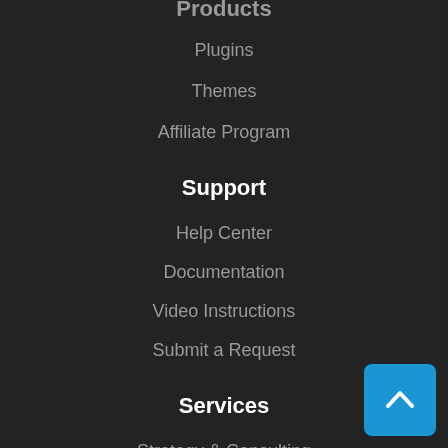Products
Plugins
Themes
Affiliate Program
Support
Help Center
Documentation
Video Instructions
Submit a Request
Services
Strategy & Consulting
[Figure (illustration): Scroll to top button — blue rounded square with white upward chevron arrow]